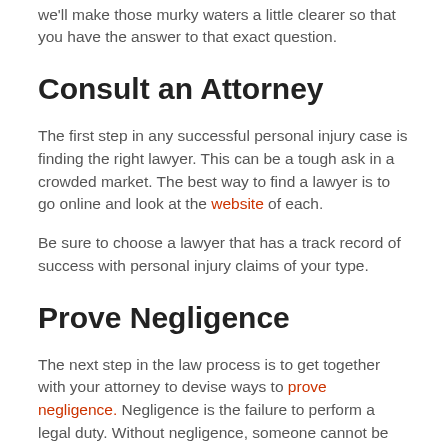we'll make those murky waters a little clearer so that you have the answer to that exact question.
Consult an Attorney
The first step in any successful personal injury case is finding the right lawyer. This can be a tough ask in a crowded market. The best way to find a lawyer is to go online and look at the website of each.
Be sure to choose a lawyer that has a track record of success with personal injury claims of your type.
Prove Negligence
The next step in the law process is to get together with your attorney to devise ways to prove negligence. Negligence is the failure to perform a legal duty. Without negligence, someone cannot be held legally liable for damages.